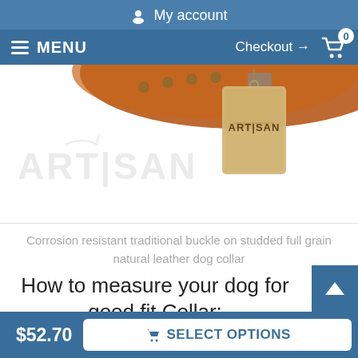My account
MENU   Checkout → 0
[Figure (photo): Product photo of an Artisan brown leather dog collar at the top, with an Artisan branded hang tag visible. Artisan logo watermark in the center of the image area.]
Corrosion resistant traditional buckle on studded full grain natural leather dog collar
How to measure your dog for good fit Collar:
$52.70
SELECT OPTIONS